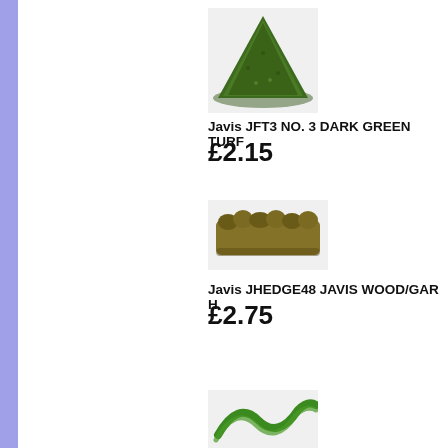[Figure (photo): Pile of dark green turf powder/scatter material]
Javis JFT3 NO. 3 DARK GREEN TURF
£2.15
[Figure (photo): A small brown-green hedge/foliage strip model scenery piece]
Javis JHEDGE48 JAVIS WOOD/GAR H
£2.75
[Figure (photo): Green wire/foam tree armature or hedge strip, partially visible]